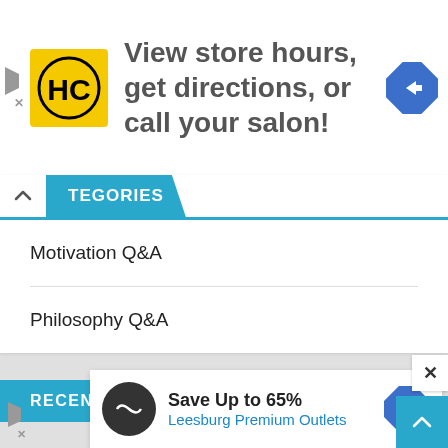[Figure (screenshot): Top advertisement banner with HC logo, text 'View store hours, get directions, or call your salon!' and a blue direction icon]
View store hours, get directions, or call your salon!
TEGORIES
Motivation Q&A
Philosophy Q&A
RECENT POSTS
[Figure (screenshot): Bottom advertisement overlay with Leesburg Premium Outlets logo, text 'Save Up to 65%' and 'Leesburg Premium Outlets']
Save Up to 65%
Leesburg Premium Outlets